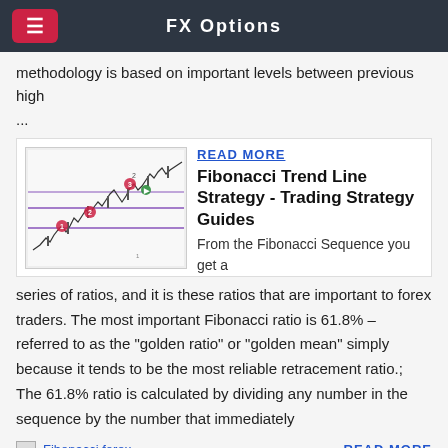FX Options
methodology is based on important levels between previous high
...
[Figure (screenshot): A trading chart showing Fibonacci trend lines with labeled points (circled numbers 1-4) and horizontal purple lines indicating support/resistance levels. Candlestick chart with upward price movement.]
READ MORE
Fibonacci Trend Line Strategy - Trading Strategy Guides
From the Fibonacci Sequence you get a series of ratios, and it is these ratios that are important to forex traders. The most important Fibonacci ratio is 61.8% – referred to as the "golden ratio" or "golden mean" simply because it tends to be the most reliable retracement ratio.; The 61.8% ratio is calculated by dividing any number in the sequence by the number that immediately
[Figure (screenshot): Broken image placeholder labeled 'Fibonacci forex']
READ MORE